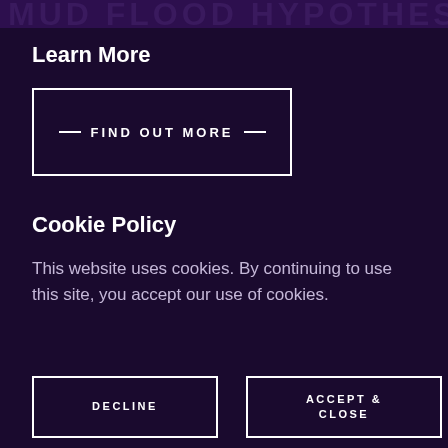MUD FLOOD HYPOTHESIS
Learn More
— FIND OUT MORE —
Cookie Policy
This website uses cookies. By continuing to use this site, you accept our use of cookies.
DECLINE
ACCEPT & CLOSE